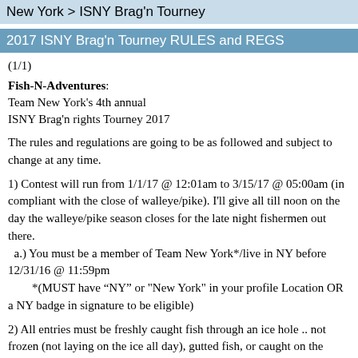New York > ISNY Brag'n Tourney
2017 ISNY Brag'n Tourney RULES and REGS
(1/1)
Fish-N-Adventures:
Team New York's 4th annual
ISNY Brag'n rights Tourney 2017
The rules and regulations are going to be as followed and subject to change at any time.
1) Contest will run from 1/1/17 @ 12:01am to 3/15/17 @ 05:00am (in compliant with the close of walleye/pike). I'll give all till noon on the day the walleye/pike season closes for the late night fishermen out there.
  a.) You must be a member of Team New York*/live in NY before 12/31/16 @ 11:59pm
        *(MUST have “NY” or "New York" in your profile Location OR a NY badge in signature to be eligible)
2) All entries must be freshly caught fish through an ice hole .. not frozen (not laying on the ice all day), gutted fish, or caught on the